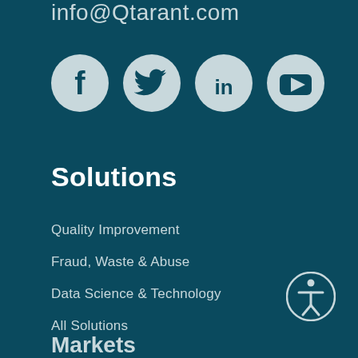info@Qtarant.com
[Figure (infographic): Four social media icon circles (Facebook, Twitter, LinkedIn, YouTube) with light grey backgrounds on dark teal]
Solutions
Quality Improvement
Fraud, Waste & Abuse
Data Science & Technology
All Solutions
[Figure (illustration): Accessibility icon — person figure in a circle, bottom right corner]
Markets